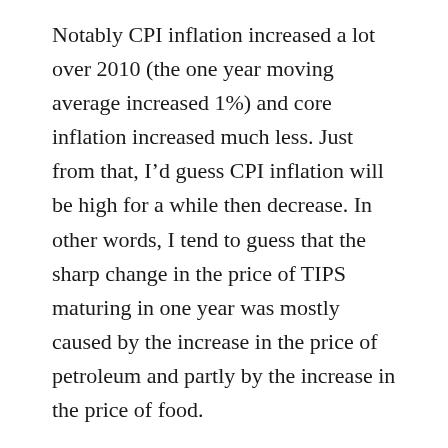Notably CPI inflation increased a lot over 2010 (the one year moving average increased 1%) and core inflation increased much less. Just from that, I'd guess CPI inflation will be high for a while then decrease. In other words, I tend to guess that the sharp change in the price of TIPS maturing in one year was mostly caused by the increase in the price of petroleum and partly by the increase in the price of food.
Of course, now that I have written here (and all over the web) that QE2 did nothing, I would be inclined to make such an interpretation. It is also possible that investors assume that the Fed will decide that 7% unemployment is low enough and